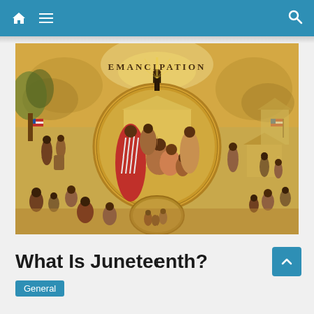Navigation bar with home, menu, and search icons
[Figure (illustration): Historical illustration titled 'Emancipation' showing scenes of African American life before and after emancipation, with a large central medallion depicting a family gathering and surrounding vignettes of various scenes. An American flag is visible on both left and right sides.]
What Is Juneteenth?
General